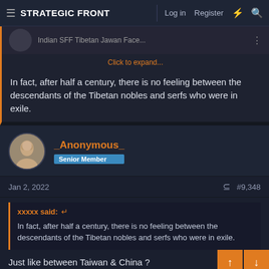STRATEGIC FRONT — Log in  Register
[Figure (screenshot): Thumbnail image of Indian SFF Tibetan Jawan Face...]
Click to expand...
In fact, after half a century, there is no feeling between the descendants of the Tibetan nobles and serfs who were in exile.
_Anonymous_  Senior Member
Jan 2, 2022
#9,348
xxxxx said: ↩
In fact, after half a century, there is no feeling between the descendants of the Tibetan nobles and serfs who were in exile.
Just like between Taiwan & China ?